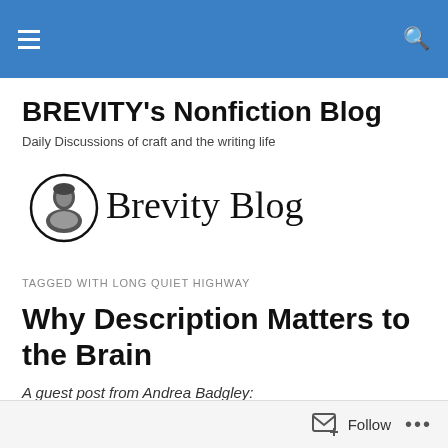BREVITY's Nonfiction Blog
BREVITY's Nonfiction Blog
Daily Discussions of craft and the writing life
[Figure (logo): Brevity Blog logo with vintage portrait icon and serif text reading 'Brevity Blog']
TAGGED WITH LONG QUIET HIGHWAY
Why Description Matters to the Brain
A guest post from Andrea Badgley: